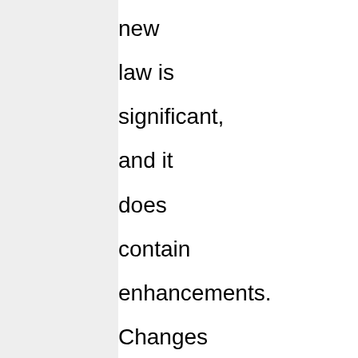new law is significant, and it does contain enhancements. Changes such as having more people covered by insurance, and regulating insurance